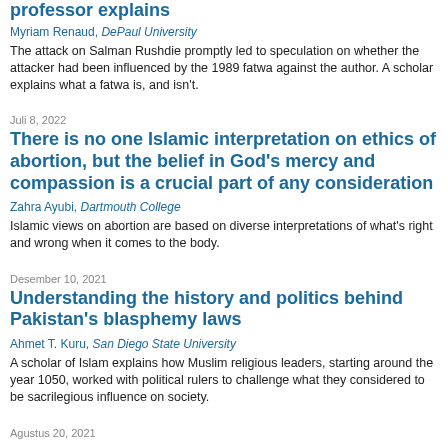professor explains
Myriam Renaud, DePaul University
The attack on Salman Rushdie promptly led to speculation on whether the attacker had been influenced by the 1989 fatwa against the author. A scholar explains what a fatwa is, and isn't.
Juli 8, 2022
There is no one Islamic interpretation on ethics of abortion, but the belief in God's mercy and compassion is a crucial part of any consideration
Zahra Ayubi, Dartmouth College
Islamic views on abortion are based on diverse interpretations of what's right and wrong when it comes to the body.
Desember 10, 2021
Understanding the history and politics behind Pakistan's blasphemy laws
Ahmet T. Kuru, San Diego State University
A scholar of Islam explains how Muslim religious leaders, starting around the year 1050, worked with political rulers to challenge what they considered to be sacrilegious influence on society.
Agustus 20, 2021